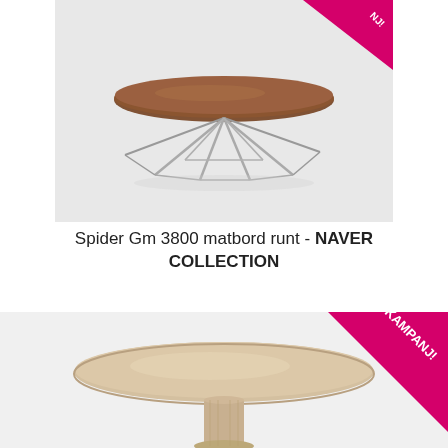[Figure (photo): Round dining table with walnut wood top and metal wire/spider base, photographed on light grey background]
Spider Gm 3800 matbord runt - NAVER COLLECTION
[Figure (photo): Round dining table with light beige/natural wood top and solid pedestal base, photographed on light grey background, partially visible]